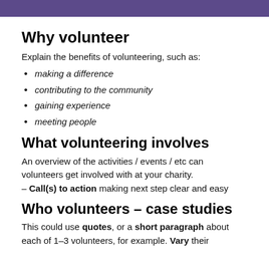Why volunteer
Explain the benefits of volunteering, such as:
making a difference
contributing to the community
gaining experience
meeting people
What volunteering involves
An overview of the activities / events / etc can volunteers get involved with at your charity.
– Call(s) to action making next step clear and easy
Who volunteers – case studies
This could use quotes, or a short paragraph about each of 1–3 volunteers, for example. Vary their